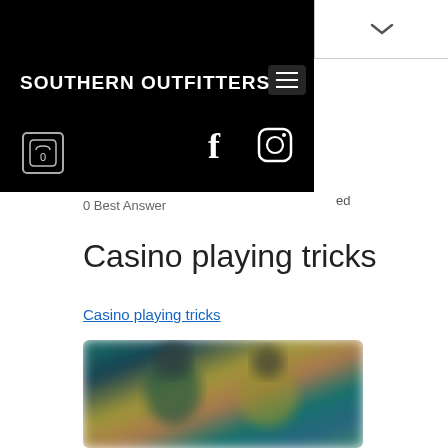SOUTHERN OUTFITTERS
0 Best Answer
Casino playing tricks
Casino playing tricks
[Figure (photo): Blurred photo showing people at what appears to be a casino or gaming environment with green and teal tones]